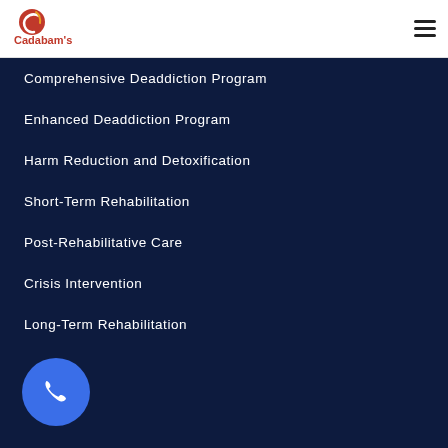[Figure (logo): Cadabam's logo with stylized C icon in red/orange and text]
[Figure (other): Hamburger menu icon (three horizontal lines)]
Comprehensive Deaddiction Program
Enhanced Deaddiction Program
Harm Reduction and Detoxification
Short-Term Rehabilitation
Post-Rehabilitative Care
Crisis Intervention
Long-Term Rehabilitation
[Figure (other): Blue circular phone/call button icon at bottom left]